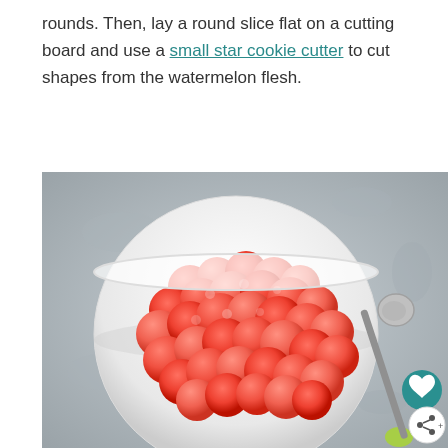rounds. Then, lay a round slice flat on a cutting board and use a small star cookie cutter to cut shapes from the watermelon flesh.
[Figure (photo): Overhead photo of a white bowl filled with round watermelon balls, placed on a gray stone surface. A metal melon baller with a green handle is visible to the right of the bowl. A teal circular save button and a share button are visible in the bottom right corner.]